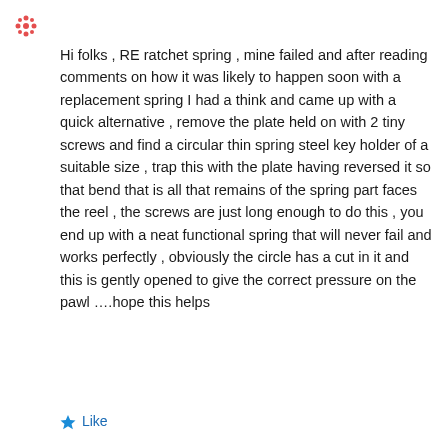[Figure (illustration): Small decorative avatar icon, red/orange ornamental graphic in top-left corner]
Hi folks , RE ratchet spring , mine failed and after reading comments on how it was likely to happen soon with a replacement spring I had a think and came up with a quick alternative , remove the plate held on with 2 tiny screws and find a circular thin spring steel key holder of a suitable size , trap this with the plate having reversed it so that bend that is all that remains of the spring part faces the reel , the screws are just long enough to do this , you end up with a neat functional spring that will never fail and works perfectly , obviously the circle has a cut in it and this is gently opened to give the correct pressure on the pawl ….hope this helps
Like